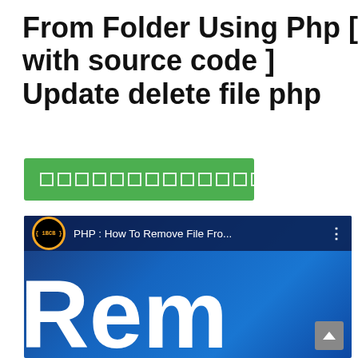From Folder Using Php [ with source code ] Update delete file php
[Figure (other): Green button with a row of small checkbox/square icons in white outline]
[Figure (screenshot): YouTube video thumbnail showing '1BCB' channel icon, title 'PHP : How To Remove File Fro...' with three-dot menu, and large white text 'Rem' on blue background. A scroll-to-top button visible in bottom right.]